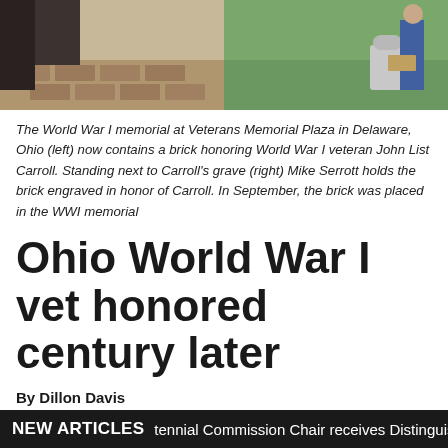[Figure (photo): Two photos side by side: left shows a brick memorial at Veterans Memorial Plaza in Delaware, Ohio; right shows Mike Serrott standing next to John List Carroll's grave holding an engraved brick.]
The World War I memorial at Veterans Memorial Plaza in Delaware, Ohio (left) now contains a brick honoring World War I veteran John List Carroll. Standing next to Carroll's grave (right) Mike Serrott holds the brick engraved in honor of Carroll. In September, the brick was placed in the WWI memorial
Ohio World War I vet honored century later
By Dillon Davis
via the Delaware Gazette (OH) newspaper web site
Oak Grove Cemetery in Delaware serves as the final resting place for veterans of every war in which the United States has been involved. When Mike Serrott and
NEW ARTICLES   tennial Commission Chair receives Distinguishe